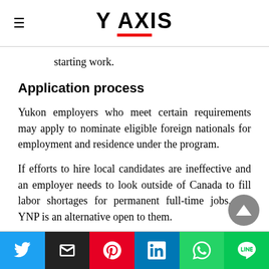Y AXIS
starting work.
Application process
Yukon employers who meet certain requirements may apply to nominate eligible foreign nationals for employment and residence under the program.
If efforts to hire local candidates are ineffective and an employer needs to look outside of Canada to fill labor shortages for permanent full-time jobs, the YNP is an alternative open to them.
Social share buttons: Twitter, Email, Pinterest, LinkedIn, WhatsApp, LINE